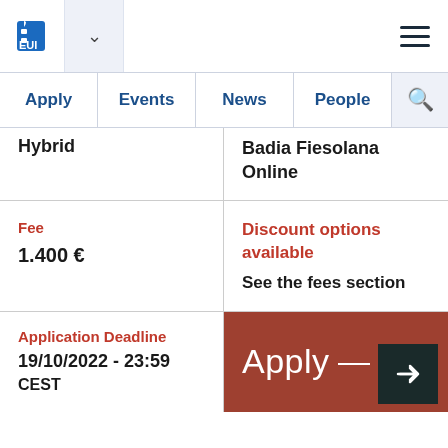[Figure (logo): EUI logo with building icon and dropdown chevron, hamburger menu on right]
Apply | Events | News | People
Hybrid
Badia Fiesolana
Online
Fee
1.400 €
Discount options available
See the fees section
Application Deadline
19/10/2022 - 23:59
CEST
Apply